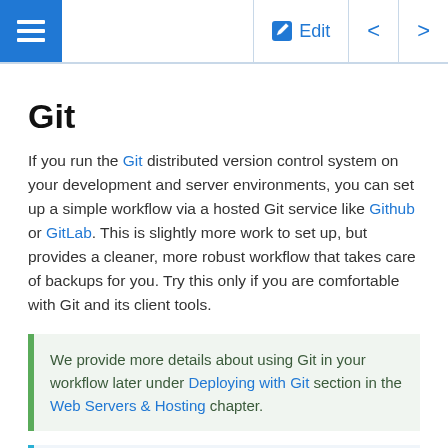≡  Edit  <  >
Git
If you run the Git distributed version control system on your development and server environments, you can set up a simple workflow via a hosted Git service like Github or GitLab. This is slightly more work to set up, but provides a cleaner, more robust workflow that takes care of backups for you. Try this only if you are comfortable with Git and its client tools.
We provide more details about using Git in your workflow later under Deploying with Git section in the Web Servers & Hosting chapter.
Found errors? Think you can improve this documentation? Simply click the Edit link...